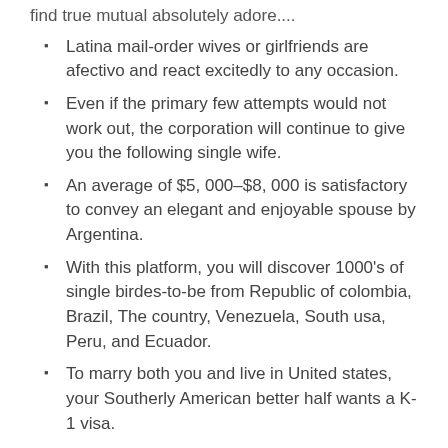find true mutual absolutely adore....
Latina mail-order wives or girlfriends are afectivo and react excitedly to any occasion.
Even if the primary few attempts would not work out, the corporation will continue to give you the following single wife.
An average of $5, 000–$8, 000 is satisfactory to convey an elegant and enjoyable spouse by Argentina.
With this platform, you will discover 1000's of single birdes-to-be from Republic of colombia, Brazil, The country, Venezuela, South usa, Peru, and Ecuador.
To marry both you and live in United states, your Southerly American better half wants a K-1 visa.
Publishing a profile photograph is the next step after enrollment. After you've picked a picture, start enhancing your account details. Many people refuse to present even simple data, and it's unlikely that they decide to build significant relationships with persons they fulfill here. But since you attempt and find a potential wife on the